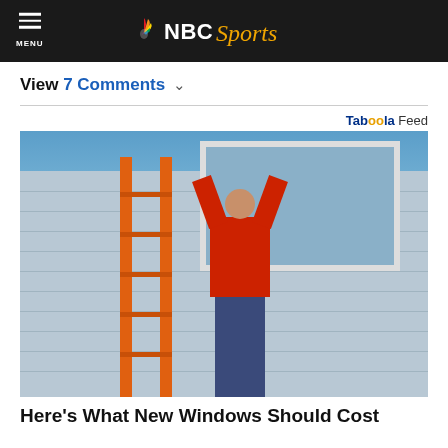NBC Sports
View 7 Comments
[Figure (photo): Workers installing a large window on the exterior of a house. An orange ladder is visible. One worker in a red shirt is lifting the window frame. Blue sky is visible above.]
Here's What New Windows Should Cost
Taboola Feed